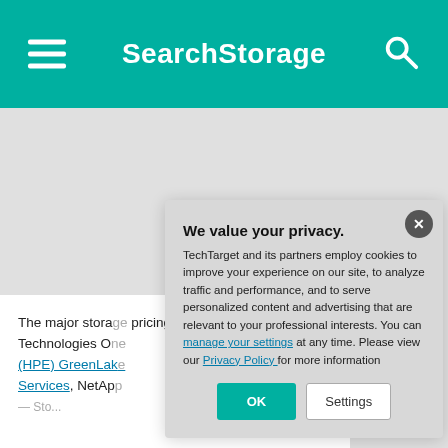SearchStorage
The major storage pricing through f Technologies Or (HPE) GreenLake Services, NetAp...
We value your privacy. TechTarget and its partners employ cookies to improve your experience on our site, to analyze traffic and performance, and to serve personalized content and advertising that are relevant to your professional interests. You can manage your settings at any time. Please view our Privacy Policy for more information
OK  Settings